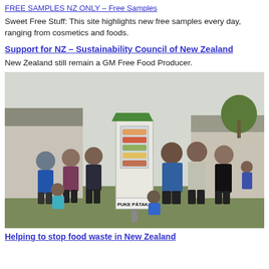FREE SAMPLES NZ ONLY – Free Samples
Sweet Free Stuff: This site highlights new free samples every day, ranging from cosmetics and foods.
Support for NZ – Sustainability Council of New Zealand
New Zealand still remain a GM Free Food Producer.
[Figure (photo): Group of people standing outdoors near a small white cabinet labeled 'PUKE PĀTAKA', a community food sharing pantry, in a residential neighbourhood.]
Helping to stop food waste in New Zealand